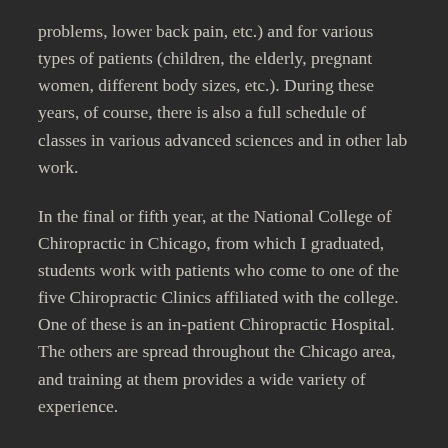problems, lower back pain, etc.) and for various types of patients (children, the elderly, pregnant women, different body sizes, etc.). During these years, of course, there is also a full schedule of classes in various advanced sciences and in other lab work.
In the final or fifth year, at the National College of Chiropractic in Chicago, from which I graduated, students work with patients who come to one of the five Chiropractic Clinics affiliated with the college. One of these is an in-patient Chiropractic Hospital. The others are spread throughout the Chicago area, and training at them provides a wide variety of experience.
At the college out-patient clinics, rounds are made with “clinicians”, who are Doctors of Chiropractic. Under the observation of these clinicians, student interns position the patient for chiropractic adjustment. If the clinician